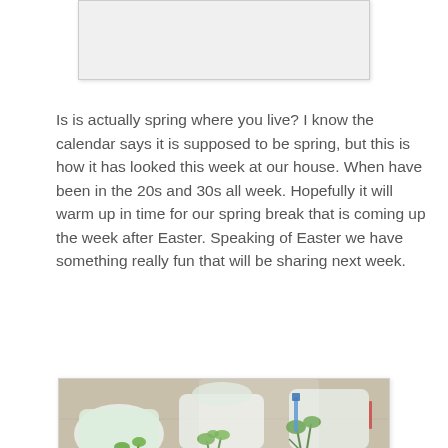[Figure (photo): Top portion of a photo (mostly white/blank top area), appears to be a partially visible image at top of page]
Is is actually spring where you live?  I know the calendar says it is supposed to be spring, but this is how it has looked this week at our house.  When have been in the 20s and 30s all week.  Hopefully it will warm up in time for our spring break that is coming up the week after Easter.  Speaking of Easter we have something really fun that will be sharing next week.
[Figure (photo): Photograph of seedlings growing in recycled plastic containers (milk jugs/jugs cut open) placed on a wooden deck surface, showing various green plants with soil]